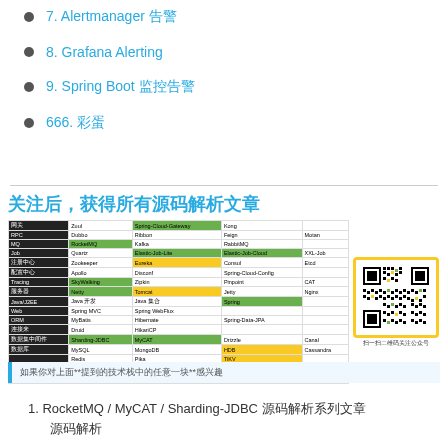7. Alertmanager 告警
8. Grafana Alerting
9. Spring Boot 监控告警
666. 彩蛋
[Figure (infographic): Technology stack table with QR code. Title: 关注后，获得所有源码解析文章. Table shows technology categories (网关, RPC, MQ, Job, 注册中心, 配置中心, Tracing, 服务器, Java/J2EE, Web, ORM, 连接来, 数据集中间件, 数据库, 搜索, 其他) with various frameworks listed in colored cells. QR code on right side with label 扫一扫二维码关注公众号]
如果你对上面**提到的技术栈中的任意一块**感兴趣
1. RocketMQ / MyCAT / Sharding-JDBC 源码解析系列文章